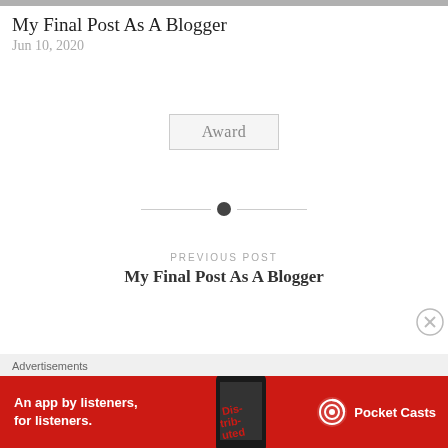[Figure (photo): Partial top image strip from a blog post thumbnail]
My Final Post As A Blogger
Jun 10, 2020
Award
[Figure (other): Horizontal divider with a centered dot]
PREVIOUS POST
My Final Post As A Blogger
Advertisements
[Figure (other): Advertisement banner: Pocket Casts app — An app by listeners, for listeners.]